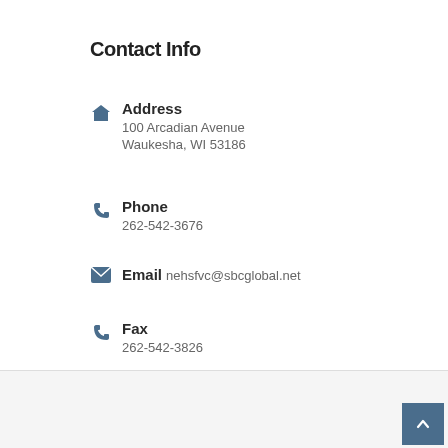Contact Info
Address
100 Arcadian Avenue
Waukesha, WI 53186
Phone
262-542-3676
Email
nehsfvc@sbcglobal.net
Fax
262-542-3826
© 2022 Nehs Family Vision Center. All rights reserved. Terms of Use and Privacy Policy